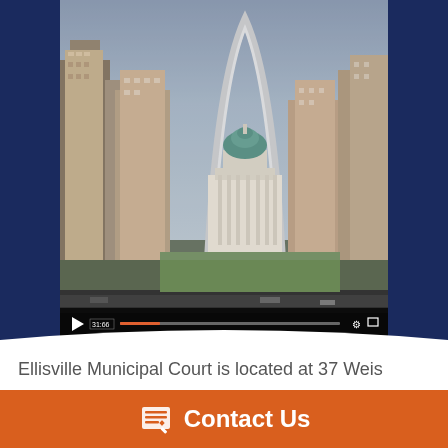[Figure (screenshot): Video thumbnail showing St. Louis skyline with the Gateway Arch, Old Courthouse with green dome, and city buildings. Video player controls visible at bottom with play button, time code 31:66, progress bar, and settings icons.]
Ellisville Municipal Court is located at 37 Weis Avenue, Ellisville MO 63011. For information regarding court dates, tickets, or other court matters, you can contact the Ellisville Municipal Court during business hours at (636) 227-9660 or visit their website.
If you find yourself in court, waiting for your turn to approach the bench, the court docket is store in the
Contact Us